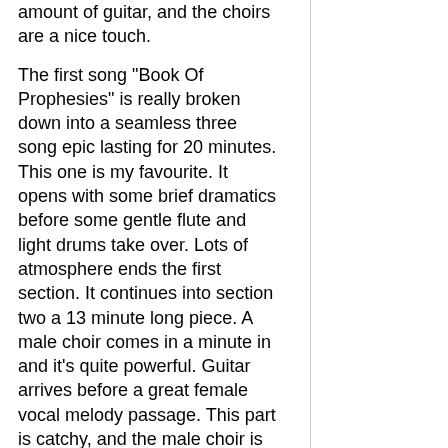amount of guitar, and the choirs are a nice touch.
The first song "Book Of Prophesies" is really broken down into a seamless three song epic lasting for 20 minutes. This one is my favourite. It opens with some brief dramatics before some gentle flute and light drums take over. Lots of atmosphere ends the first section. It continues into section two a 13 minute long piece. A male choir comes in a minute in and it's quite powerful. Guitar arrives before a great female vocal melody passage. This part is catchy, and the male choir is back. This is fantastic! We get male and female vocals with some excellent guitar coming and going. The highlight of the third section is the guitar soloing so beautifully as the male choir sings. Nice. "The Duel" is ok but didn't impress me alot. I like the organ and flute. Some good bass lines 2 1/2 minutes in. Guitar and vocals to end it.
"The Lion's Empire" has some heaviness